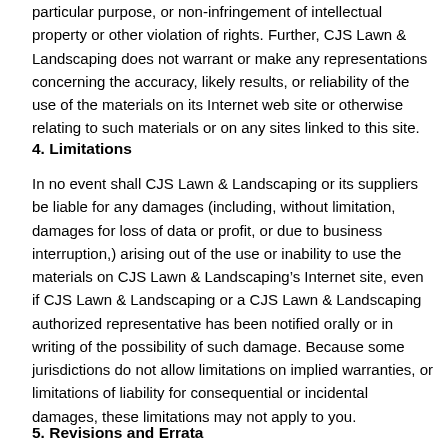particular purpose, or non-infringement of intellectual property or other violation of rights. Further, CJS Lawn & Landscaping does not warrant or make any representations concerning the accuracy, likely results, or reliability of the use of the materials on its Internet web site or otherwise relating to such materials or on any sites linked to this site.
4. Limitations
In no event shall CJS Lawn & Landscaping or its suppliers be liable for any damages (including, without limitation, damages for loss of data or profit, or due to business interruption,) arising out of the use or inability to use the materials on CJS Lawn & Landscaping’s Internet site, even if CJS Lawn & Landscaping or a CJS Lawn & Landscaping authorized representative has been notified orally or in writing of the possibility of such damage. Because some jurisdictions do not allow limitations on implied warranties, or limitations of liability for consequential or incidental damages, these limitations may not apply to you.
5. Revisions and Errata